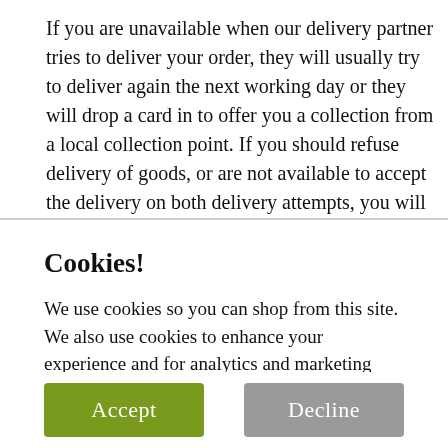If you are unavailable when our delivery partner tries to deliver your order, they will usually try to deliver again the next working day or they will drop a card in to offer you a collection from a local collection point. If you should refuse delivery of goods, or are not available to accept the delivery on both delivery attempts, you will be required to cover any
Cookies!
We use cookies so you can shop from this site. We also use cookies to enhance your experience and for analytics and marketing purposes. By clicking "Accept" below, you are agreeing to these cookies. To find out more about our cookies please click here.
Accept
Decline